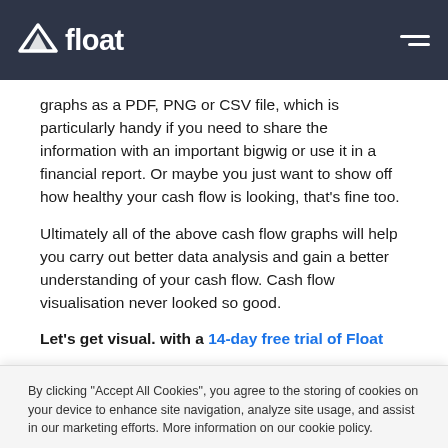float
graphs as a PDF, PNG or CSV file, which is particularly handy if you need to share the information with an important bigwig or use it in a financial report. Or maybe you just want to show off how healthy your cash flow is looking, that's fine too.
Ultimately all of the above cash flow graphs will help you carry out better data analysis and gain a better understanding of your cash flow. Cash flow visualisation never looked so good.
Let's get visual. with a 14-day free trial of Float
By clicking “Accept All Cookies”, you agree to the storing of cookies on your device to enhance site navigation, analyze site usage, and assist in our marketing efforts. More information on our cookie policy.